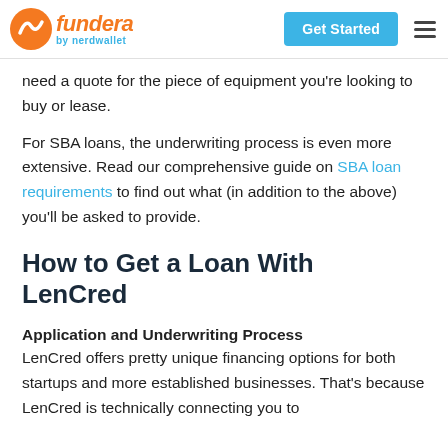Fundera by nerdwallet — Get Started
need a quote for the piece of equipment you're looking to buy or lease.
For SBA loans, the underwriting process is even more extensive. Read our comprehensive guide on SBA loan requirements to find out what (in addition to the above) you'll be asked to provide.
How to Get a Loan With LenCred
Application and Underwriting Process
LenCred offers pretty unique financing options for both startups and more established businesses. That's because LenCred is technically connecting you to